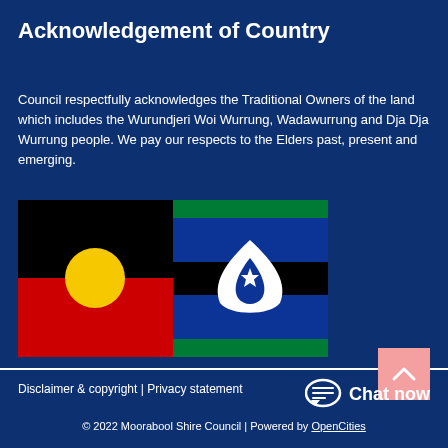Acknowledgement of Country
Council respectfully acknowledges the Traditional Owners of the land which includes the Wurundjeri Woi Wurrung, Wadawurrung and Dja Dja Wurrung people. We pay our respects to the Elders past, present and emerging.
[Figure (illustration): Australian Aboriginal flag (left half) and Torres Strait Islander flag (right half) displayed side by side]
Disclaimer & copyright | Privacy statement
Chat now
© 2022 Moorabool Shire Council | Powered by OpenCities